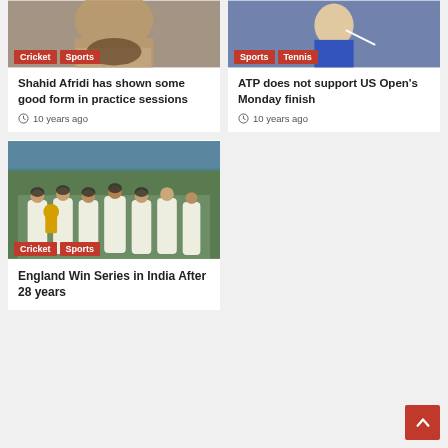[Figure (photo): Close-up photo of a bearded man, partial face visible, with Cricket and Sports tags]
Cricket  Sports
Shahid Afridi has shown some good form in practice sessions
10 years ago
[Figure (photo): Tennis player in blue outfit with Sports and Tennis tags]
Sports  Tennis
ATP does not support US Open's Monday finish
10 years ago
[Figure (photo): Cricket team celebrating with trophy, Cricket and Sports tags]
Cricket  Sports
England Win Series in India After 28 years